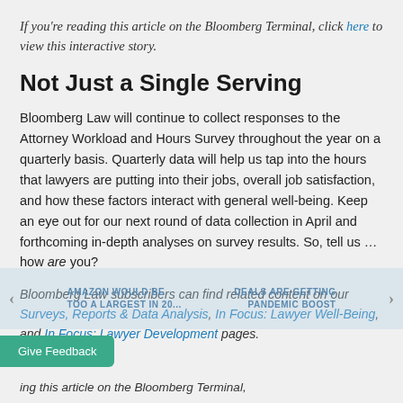If you're reading this article on the Bloomberg Terminal, click here to view this interactive story.
Not Just a Single Serving
Bloomberg Law will continue to collect responses to the Attorney Workload and Hours Survey throughout the year on a quarterly basis. Quarterly data will help us tap into the hours that lawyers are putting into their jobs, overall job satisfaction, and how these factors interact with general well-being. Keep an eye out for our next round of data collection in April and forthcoming in-depth analyses on survey results. So, tell us … how are you?
Bloomberg Law subscribers can find related content on our Surveys, Reports & Data Analysis, In Focus: Lawyer Well-Being, and In Focus: Lawyer Development pages.
ing this article on the Bloomberg Terminal,